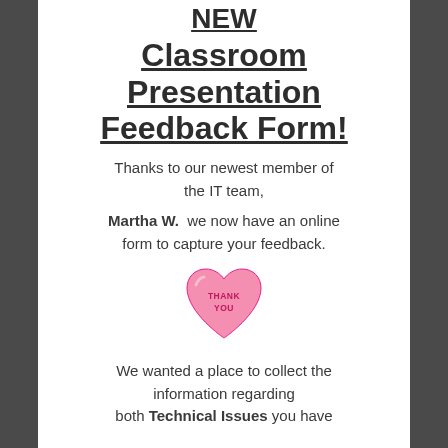NEW Classroom Presentation Feedback Form!
Thanks to our newest member of the IT team,
Martha W.  we now have an online form to capture your feedback.
[Figure (illustration): Pink candy heart with text THANK YOU]
We wanted a place to collect the information regarding both Technical Issues you have